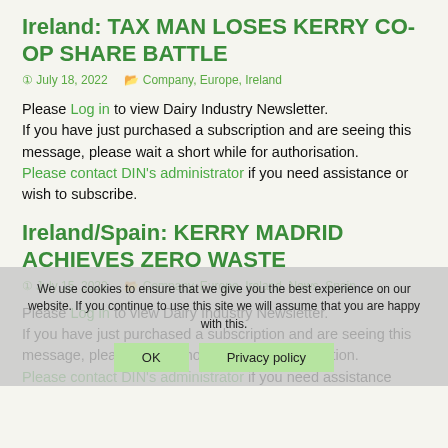Ireland: TAX MAN LOSES KERRY CO-OP SHARE BATTLE
July 18, 2022   Company, Europe, Ireland
Please Log in to view Dairy Industry Newsletter. If you have just purchased a subscription and are seeing this message, please wait a short while for authorisation. Please contact DIN's administrator if you need assistance or wish to subscribe.
Ireland/Spain: KERRY MADRID ACHIEVES ZERO WASTE
July 15, 2022   Company, Europe, Ireland, News, Spain
Please Log in to view Dairy Industry Newsletter. If you have just purchased a subscription and are seeing this message, please wait a short while for authorisation. Please contact DIN's administrator if you need assistance
We use cookies to ensure that we give you the best experience on our website. If you continue to use this site we will assume that you are happy with this.